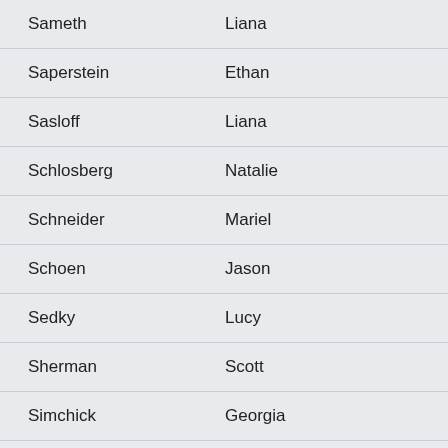| Sameth | Liana |
| Saperstein | Ethan |
| Sasloff | Liana |
| Schlosberg | Natalie |
| Schneider | Mariel |
| Schoen | Jason |
| Sedky | Lucy |
| Sherman | Scott |
| Simchick | Georgia |